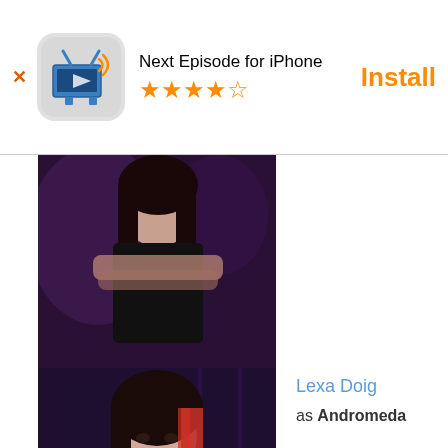[Figure (screenshot): App install banner for 'Next Episode for iPhone' with 4.5 star rating and Install button]
[Figure (photo): Partially visible photo of a female cast member in black outfit with arms crossed]
[Figure (photo): Photo of Lexa Doig with red-highlighted hair]
Lexa Doig
as Andromeda
[Figure (photo): Partial photo of Gordon Michael Woolvett]
Gordon Michael Woolvett
as Seamus Harper